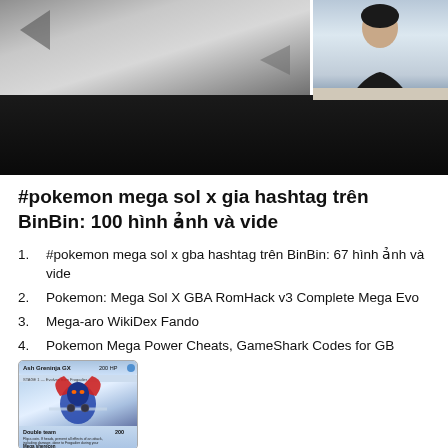[Figure (screenshot): Screenshot of a video with a dark lower bar and a person visible in the upper right thumbnail]
#pokemon mega sol x gia hashtag trên BinBin: 100 hình ảnh và vide
#pokemon mega sol x gba hashtag trên BinBin: 67 hình ảnh và vide
Pokemon: Mega Sol X GBA RomHack v3 Complete Mega Evo
Mega-aro WikiDex Fando
Pokemon Mega Power Cheats, GameShark Codes for GB
[Figure (photo): Pokemon card: Ash Greninja GX, 200 HP, with Double Team attack (200) and Mega sherecen attack text visible]